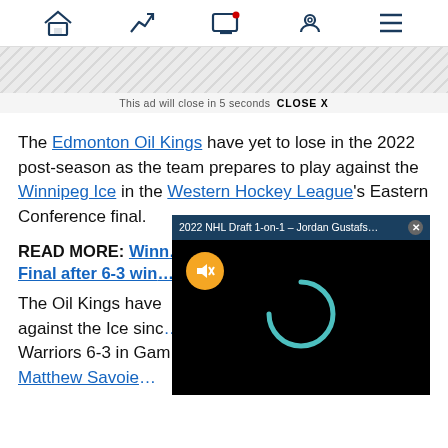Navigation bar with home, trending, screen, location, and menu icons
[Figure (screenshot): Ad banner with diagonal hatch pattern]
This ad will close in 5 seconds  CLOSE X
The Edmonton Oil Kings have yet to lose in the 2022 post-season as the team prepares to play against the Winnipeg Ice in the Western Hockey League's Eastern Conference final.
READ MORE: Winn... Final after 6-3 win...
The Oil Kings have... against the Ice sinc... Warriors 6-3 in Gam... Matthew Savoie...
[Figure (screenshot): Video player overlay showing '2022 NHL Draft 1-on-1 – Jordan Gustafs...' with a black background, mute button (orange circle with mute icon), and a teal loading spinner arc. Close X button in top right.]